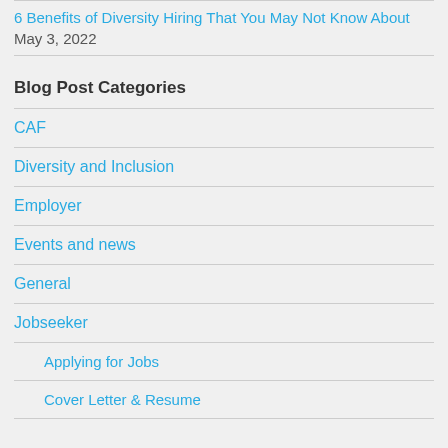6 Benefits of Diversity Hiring That You May Not Know About May 3, 2022
Blog Post Categories
CAF
Diversity and Inclusion
Employer
Events and news
General
Jobseeker
Applying for Jobs
Cover Letter & Resume